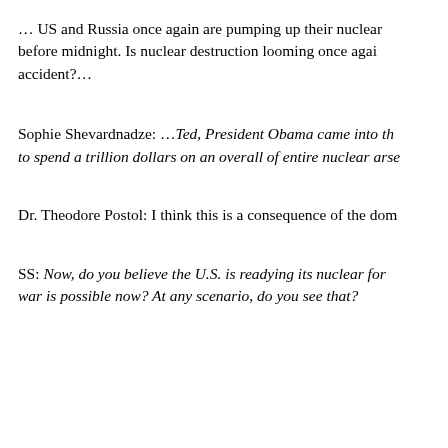… US and Russia once again are pumping up their nuclear before midnight. Is nuclear destruction looming once again accident?…
Sophie Shevardnadze: …Ted, President Obama came into th to spend a trillion dollars on an overall of entire nuclear arse
Dr. Theodore Postol: I think this is a consequence of the dom
SS: Now, do you believe the U.S. is readying its nuclear for war is possible now? At any scenario, do you see that?